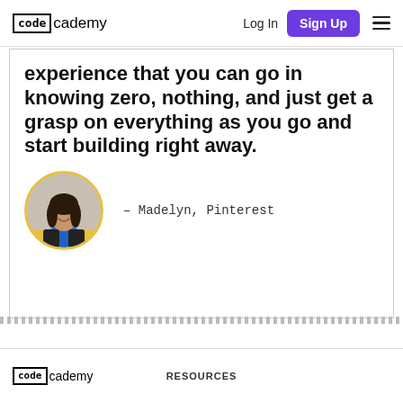codecademy  Log In  Sign Up
experience that you can go in knowing zero, nothing, and just get a grasp on everything as you go and start building right away.
[Figure (photo): Circular portrait photo of Madelyn, a woman in a blue top and black jacket, smiling, with a yellow accent at the bottom of the circle.]
— Madelyn, Pinterest
codecademy  RESOURCES